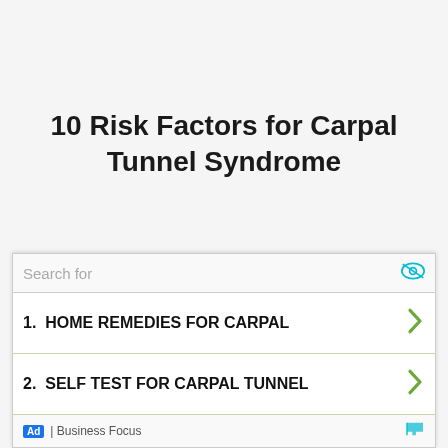10 Risk Factors for Carpal Tunnel Syndrome
10 Risk Factors for Carpal (ghost/partially visible text behind ad)
[Figure (screenshot): Advertisement overlay showing a search ad with two items: 1. HOME REMEDIES FOR CARPAL, 2. SELF TEST FOR CARPAL TUNNEL. Labeled as Ad | Business Focus at the bottom.]